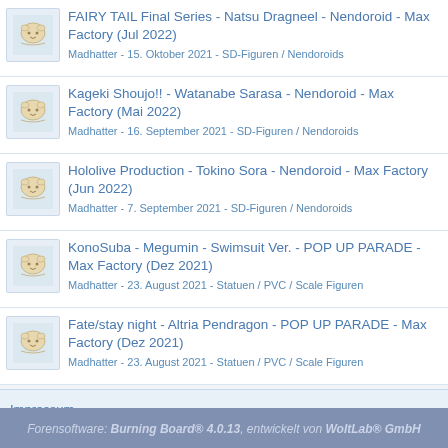FAIRY TAIL Final Series - Natsu Dragneel - Nendoroid - Max Factory (Jul 2022)
Madhatter - 15. Oktober 2021 - SD-Figuren / Nendoroids
Kageki Shoujo!! - Watanabe Sarasa - Nendoroid - Max Factory (Mai 2022)
Madhatter - 16. September 2021 - SD-Figuren / Nendoroids
Hololive Production - Tokino Sora - Nendoroid - Max Factory (Jun 2022)
Madhatter - 7. September 2021 - SD-Figuren / Nendoroids
KonoSuba - Megumin - Swimsuit Ver. - POP UP PARADE - Max Factory (Dez 2021)
Madhatter - 23. August 2021 - Statuen / PVC / Scale Figuren
Fate/stay night - Altria Pendragon - POP UP PARADE - Max Factory (Dez 2021)
Madhatter - 23. August 2021 - Statuen / PVC / Scale Figuren
Impressum
Forensoftware: Burning Board® 4.0.13, entwickelt von WoltLab® GmbH